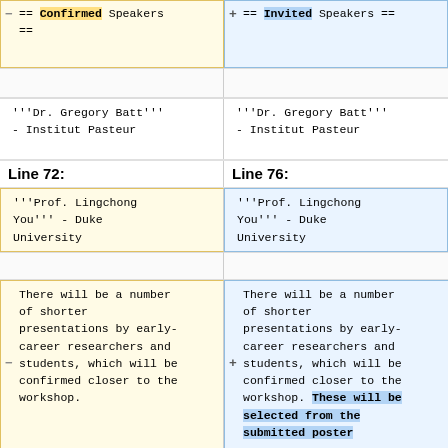== Confirmed Speakers ==
== Invited Speakers ==
'''Dr. Gregory Batt''' - Institut Pasteur
'''Dr. Gregory Batt''' - Institut Pasteur
Line 72:
Line 76:
'''Prof. Lingchong You''' - Duke University
'''Prof. Lingchong You''' - Duke University
There will be a number of shorter presentations by early-career researchers and students, which will be confirmed closer to the workshop.
There will be a number of shorter presentations by early-career researchers and students, which will be confirmed closer to the workshop. These will be selected from the submitted poster